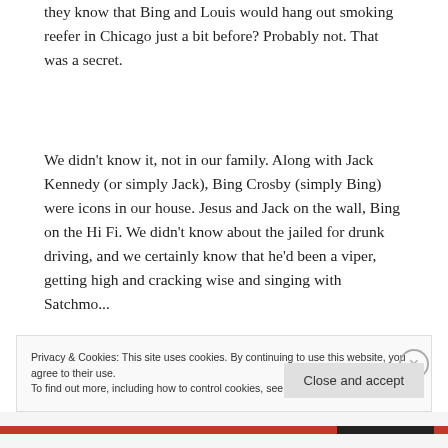they know that Bing and Louis would hang out smoking reefer in Chicago just a bit before? Probably not. That was a secret.
We didn't know it, not in our family. Along with Jack Kennedy (or simply Jack), Bing Crosby (simply Bing) were icons in our house. Jesus and Jack on the wall, Bing on the Hi Fi. We didn't know about the jailed for drunk driving, and we certainly know that he'd been a viper, getting high and cracking wise and singing with Satchmo...
Privacy & Cookies: This site uses cookies. By continuing to use this website, you agree to their use.
To find out more, including how to control cookies, see here: Cookie Policy